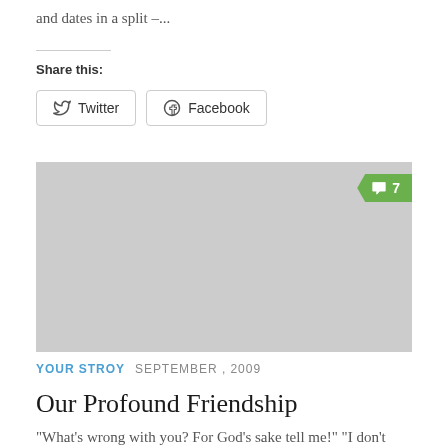and dates in a split –...
Share this:
[Figure (screenshot): Share buttons: Twitter and Facebook with rounded border buttons]
[Figure (photo): Gray placeholder image block with a green comment badge showing '7' in the top-right corner]
YOUR STROY  SEPTEMBER , 2009
Our Profound Friendship
“What’s wrong with you? For God’s sake tell me!” “I don’t